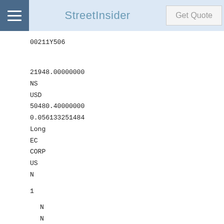StreetInsider | Get Quote
00211Y506
21948.00000000
NS
USD
50480.40000000
0.056133251484
Long
EC
CORP
US
N
1
N
N
N